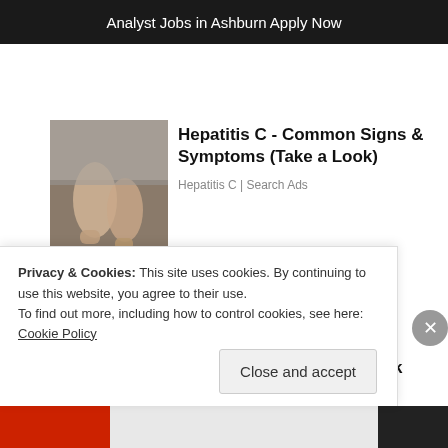[Figure (other): Dark banner advertisement: 'Analyst Jobs in Ashburn Apply Now']
[Figure (photo): Photo of person's feet/legs on a bed, related to Hepatitis C ad]
Hepatitis C - Common Signs & Symptoms (Take a Look)
Hepatitis C | Search Ads
[Figure (photo): Photo of Barack Obama and Michelle Obama outdoors]
[Pics] Obama's Home Is Beautiful, Let's Take A Look Inside
BuzzAura
Privacy & Cookies: This site uses cookies. By continuing to use this website, you agree to their use.
To find out more, including how to control cookies, see here: Cookie Policy
Close and accept